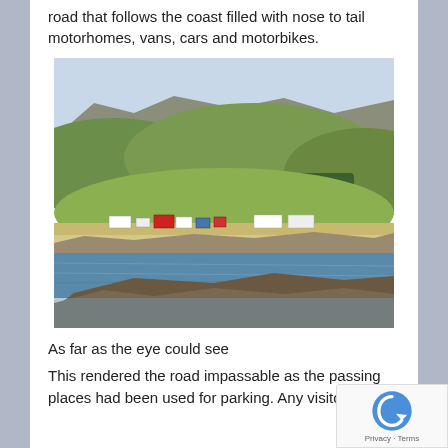road that follows the coast filled with nose to tail motorhomes, vans, cars and motorbikes.
[Figure (photo): Coastal landscape photo showing a line of motorhomes, vans and vehicles parked along a narrow coastal road, with green hills and mountains in the background and water in the foreground with rocky outcrops.]
As far as the eye could see
This rendered the road impassable as the passing places had been used for parking. Any visitor to the